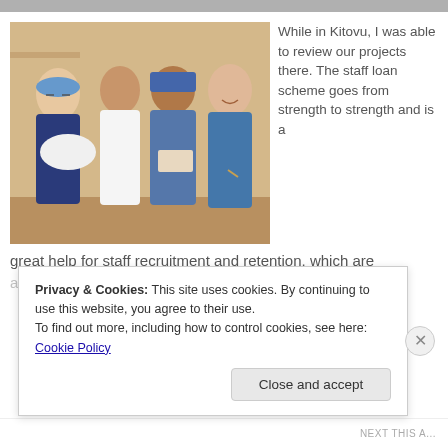[Figure (photo): Four people standing together indoors — a woman in blue headscarf and navy scrubs holding a white bundle, a woman in white nurse uniform, a woman in a blue nun's habit holding a package, and a woman in blue scrubs smiling.]
While in Kitovu, I was able to review our projects there. The staff loan scheme goes from strength to strength and is a great help for staff recruitment and retention, which are
Privacy & Cookies: This site uses cookies. By continuing to use this website, you agree to their use.
To find out more, including how to control cookies, see here: Cookie Policy
Close and accept
NEXT THIS A...